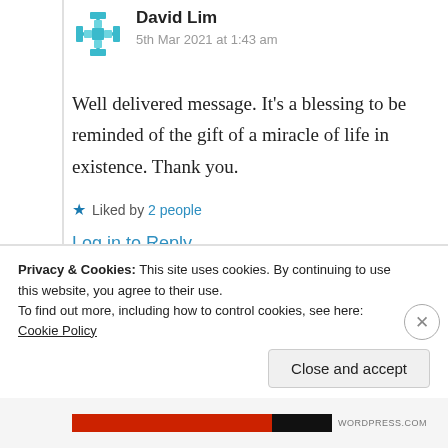David Lim
5th Mar 2021 at 1:43 am
Well delivered message. It’s a blessing to be reminded of the gift of a miracle of life in existence. Thank you.
Liked by 2 people
Log in to Reply
Privacy & Cookies: This site uses cookies. By continuing to use this website, you agree to their use.
To find out more, including how to control cookies, see here: Cookie Policy
Close and accept